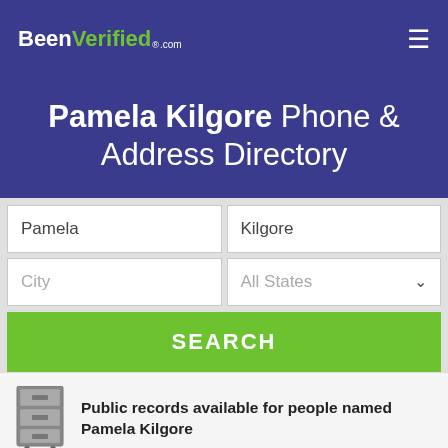BeenVerified.com
Pamela Kilgore Phone & Address Directory
Pamela | Kilgore | City | All States | SEARCH
Public records available for people named Pamela Kilgore